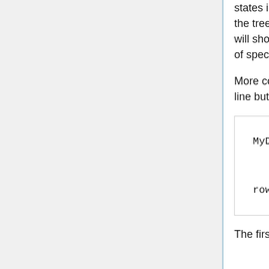states into a single vector called x. Then we assign the names (tip labels) from the tree to these 14 values. So now when you type the last command, char1, R will show you the content of that object, a vector of the values with the names of species associated with the values.
More commonly you will not be typing the character states into the command line but extracting them from a table. To do this, the process would be similar.
MyData=read.table("MyData.txt",
    char1<-MyData[,1]
    names(char1)<-
row.names(MyData)
The first line reads in the table, indicating